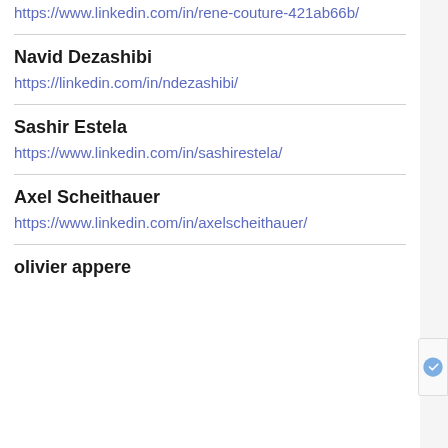https://www.linkedin.com/in/rene-couture-421ab66b/
Navid Dezashibi
https://linkedin.com/in/ndezashibi/
Sashir Estela
https://www.linkedin.com/in/sashirestela/
Axel Scheithauer
https://www.linkedin.com/in/axelscheithauer/
olivier appere